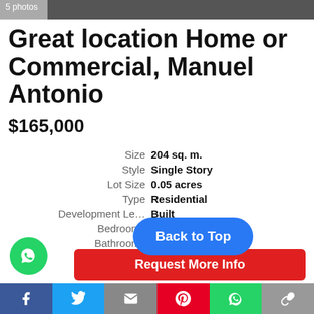[Figure (photo): Top photo strip showing property photos, labeled '5 photos']
Great location Home or Commercial, Manuel Antonio
$165,000
| Label | Value |
| --- | --- |
| Size | 204 sq. m. |
| Style | Single Story |
| Lot Size | 0.05 acres |
| Type | Residential |
| Development Le... | Built |
| Bedrooms |  |
| Bathrooms | 2 |
| Listing Created | 05-May-2022 |
Back to Top
[Figure (other): WhatsApp floating button (green circle)]
Request More Info
Facebook | Twitter | Email | Pinterest | WhatsApp | Link